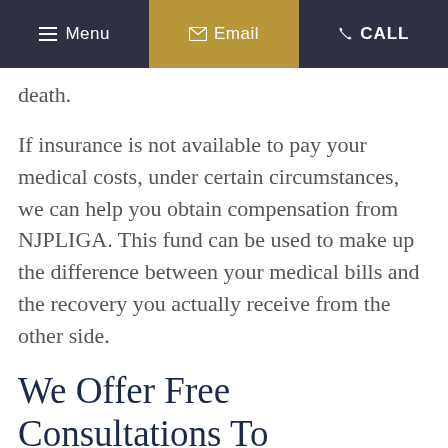Menu  Email  CALL
death.
If insurance is not available to pay your medical costs, under certain circumstances, we can help you obtain compensation from NJPLIGA. This fund can be used to make up the difference between your medical bills and the recovery you actually receive from the other side.
We Offer Free Consultations To Prospective Clients